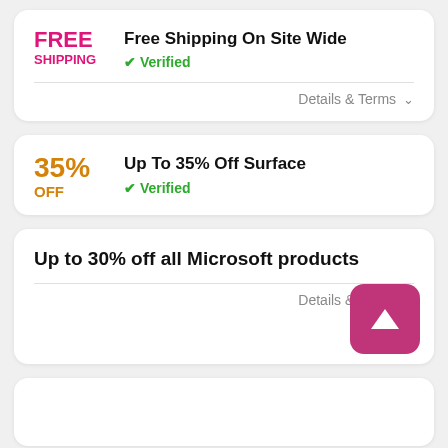Free Shipping On Site Wide
✔ Verified
Details & Terms ˅
Up To 35% Off Surface
✔ Verified
Up to 30% off all Microsoft products
Details & Terms ˅